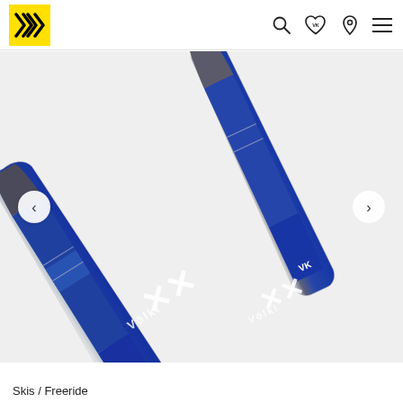Völkl logo and navigation icons (search, wishlist, store locator, menu)
[Figure (photo): Two Völkl freeride skis shown top-down at an angle on a light grey background. The skis are dark blue with white Völkl double-X logo and 'Völkl' text near the tips. Left navigation arrow and right navigation arrow visible on sides.]
Skis / Freeride